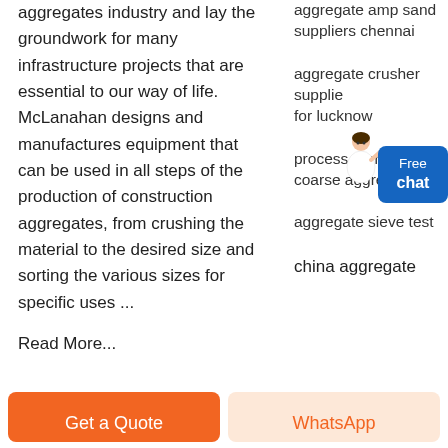aggregates industry and lay the groundwork for many infrastructure projects that are essential to our way of life. McLanahan designs and manufactures equipment that can be used in all steps of the production of construction aggregates, from crushing the material to the desired size and sorting the various sizes for specific uses ...
Read More...
aggregate amp sand suppliers chennai
aggregate crusher supplier for lucknow
process of making coarse aggregate pdf
aggregate sieve test
china aggregate
[Figure (other): Free chat button with person illustration]
Get a Quote
WhatsApp